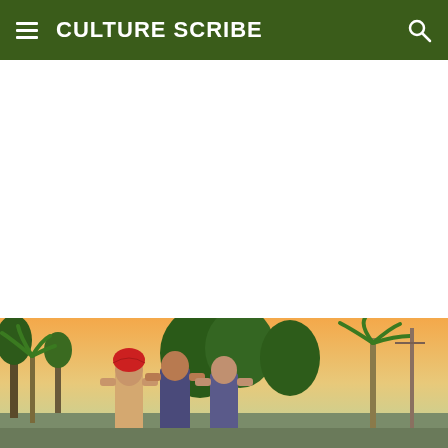CULTURE SCRIBE
[Figure (photo): Outdoor photo of three people standing together at sunset, with tropical trees (palm trees, lush greenery) in the background. The person on the left wears a red head wrap/turban. Colorful sunset sky visible in the background. Appears to be taken in a tropical setting.]